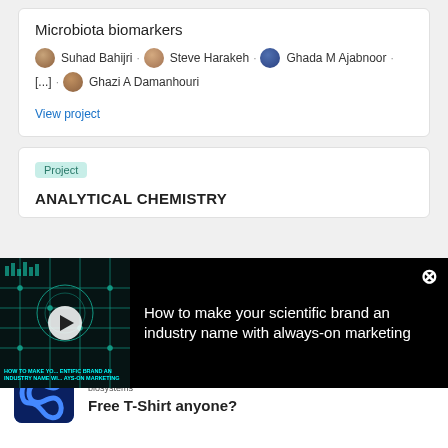Microbiota biomarkers
Suhad Bahijri · Steve Harakeh · Ghada M Ajabnoor · [...] · Ghazi A Damanhouri
View project
Project
ANALYTICAL CHEMISTRY
[Figure (screenshot): Video thumbnail for 'How to make your scientific brand an industry name with always-on marketing' with play button overlay and teal circuit-board graphic background]
How to make your scientific brand an industry name with always-on marketing
[Figure (logo): Applied Biosystems logo with infinity symbol on blue background]
Free T-Shirt anyone?